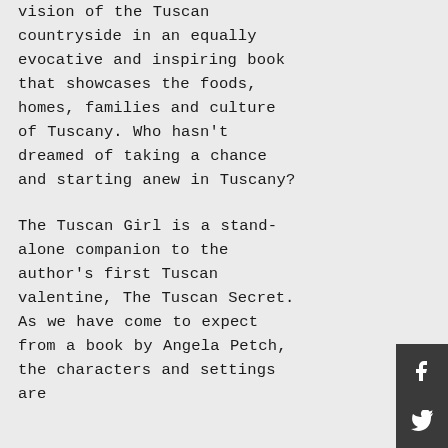vision of the Tuscan countryside in an equally evocative and inspiring book that showcases the foods, homes, families and culture of Tuscany. Who hasn't dreamed of taking a chance and starting anew in Tuscany?
The Tuscan Girl is a stand-alone companion to the author's first Tuscan valentine, The Tuscan Secret. As we have come to expect from a book by Angela Petch, the characters and settings are